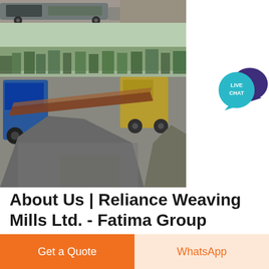[Figure (photo): Quarry/mining site with heavy machinery, conveyor belt, and large gravel/aggregate piles. Trees visible in background.]
[Figure (infographic): Live Chat button icon — teal circular speech bubble overlapping a dark purple speech bubble, with 'LIVE CHAT' text in white.]
About Us | Reliance Weaving Mills Ltd. - Fatima Group
Textile industry is considered to be the lifeline of Pakistan's economy. It plays an astounding role in the exports of the country, constituting nearly 60%
Get a Quote
WhatsApp